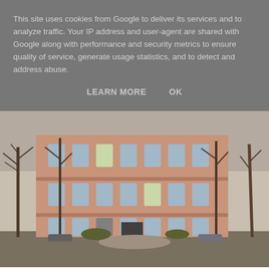This site uses cookies from Google to deliver its services and to analyze traffic. Your IP address and user-agent are shared with Google along with performance and security metrics to ensure quality of service, generate usage statistics, and to detect and address abuse.
LEARN MORE    OK
[Figure (photo): Photograph of a multi-story pink/salmon brick residential building with bare trees in front, taken in autumn or winter. The building is 3-4 stories, with white-trimmed windows. A path and lawn area are visible in the foreground.]
[Figure (photo): Photograph of a multi-story orange/ochre brick building with decorative white elements at roofline, bare trees, and overhead wires. Blue sky visible. The building appears to be Soviet-era architecture.]